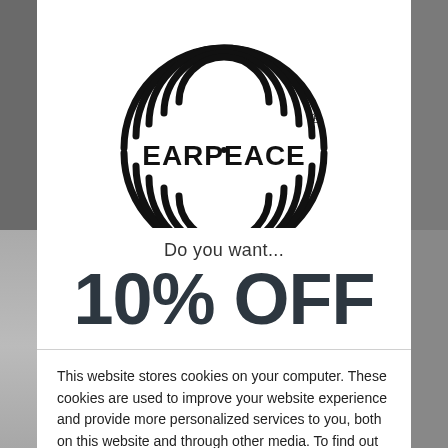[Figure (logo): EarPeace logo — concentric curved lines (sound wave pattern) above the text EARPEACE with a registered trademark symbol]
Do you want...
10% OFF
This website stores cookies on your computer. These cookies are used to improve your website experience and provide more personalized services to you, both on this website and through other media. To find out more about the cookies we use, see our Privacy Policy.
We won't track your information when you visit our site. But in order to comply with your preferences, we'll have to use just one tiny cookie so that you're not asked to make this choice again.